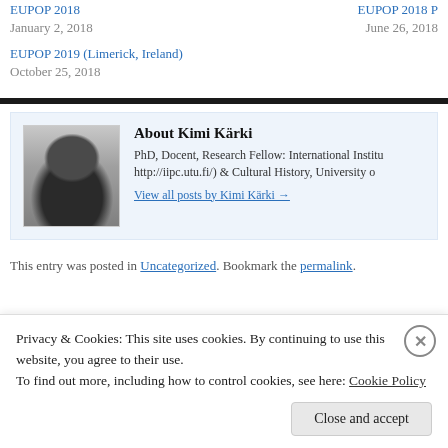EUPOP 2018
January 2, 2018
EUPOP 2018 P
June 26, 2018
EUPOP 2019 (Limerick, Ireland)
October 25, 2018
[Figure (photo): Black and white photo portrait of Kimi Kärki]
About Kimi Kärki
PhD, Docent, Research Fellow: International Institu http://iipc.utu.fi/) & Cultural History, University o
View all posts by Kimi Kärki →
This entry was posted in Uncategorized. Bookmark the permalink.
Privacy & Cookies: This site uses cookies. By continuing to use this website, you agree to their use.
To find out more, including how to control cookies, see here: Cookie Policy
Close and accept